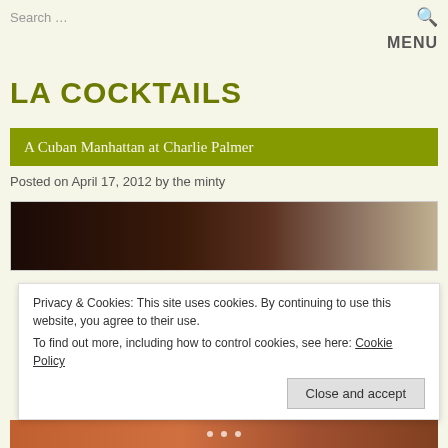Search ...
MENU
LA COCKTAILS
A Cuban Manhattan at Charlie Palmer
Posted on April 17, 2012 by the minty
[Figure (photo): Dark moody photo of a cocktail at Charlie Palmer]
Privacy & Cookies: This site uses cookies. By continuing to use this website, you agree to their use.
To find out more, including how to control cookies, see here: Cookie Policy
Close and accept